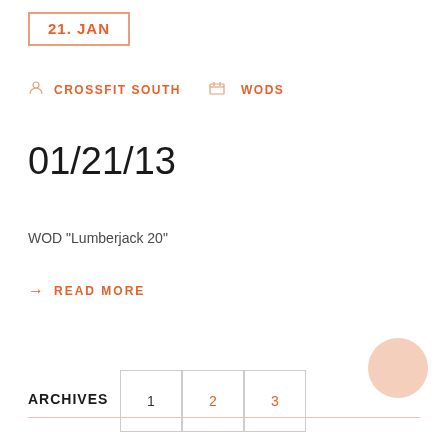21. JAN
CROSSFIT SOUTH   WODS
01/21/13
WOD "Lumberjack 20"
→ READ MORE
1  2  3  →
ARCHIVES